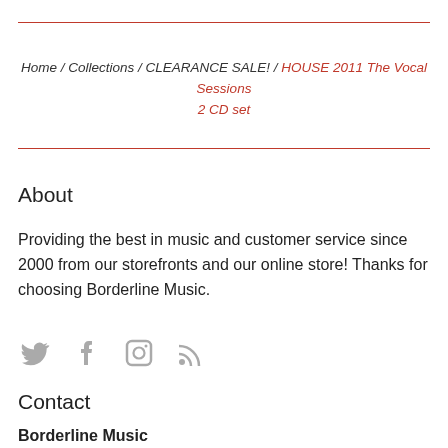Home / Collections / CLEARANCE SALE! / HOUSE 2011 The Vocal Sessions 2 CD set
About
Providing the best in music and customer service since 2000 from our storefronts and our online store! Thanks for choosing Borderline Music.
[Figure (illustration): Social media icons: Twitter, Facebook, Instagram, RSS feed]
Contact
Borderline Music